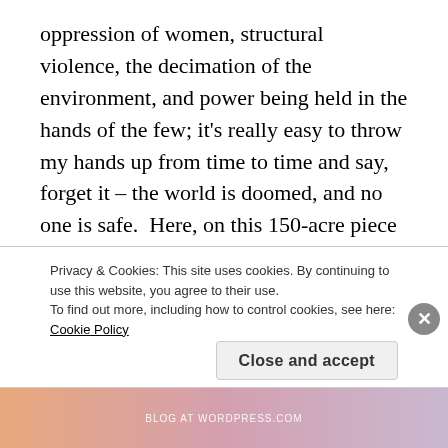oppression of women, structural violence, the decimation of the environment, and power being held in the hands of the few; it's really easy to throw my hands up from time to time and say, forget it – the world is doomed, and no one is safe.  Here, on this 150-acre piece of land in Southern Central Ohio, there is uncertainty in what the future will bring, but these women, Vassar lesbians fifty years ahead of us, radiate so much hope and confidence in the Earth and in the power of communities of women to keep this land
Privacy & Cookies: This site uses cookies. By continuing to use this website, you agree to their use.
To find out more, including how to control cookies, see here: Cookie Policy
Close and accept